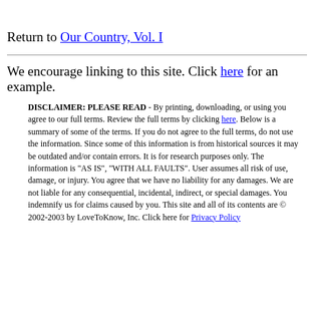Return to Our Country, Vol. I
We encourage linking to this site. Click here for an example.
DISCLAIMER: PLEASE READ - By printing, downloading, or using you agree to our full terms. Review the full terms by clicking here. Below is a summary of some of the terms. If you do not agree to the full terms, do not use the information. Since some of this information is from historical sources it may be outdated and/or contain errors. It is for research purposes only. The information is "AS IS", "WITH ALL FAULTS". User assumes all risk of use, damage, or injury. You agree that we have no liability for any damages. We are not liable for any consequential, incidental, indirect, or special damages. You indemnify us for claims caused by you. This site and all of its contents are © 2002-2003 by LoveToKnow, Inc. Click here for Privacy Policy